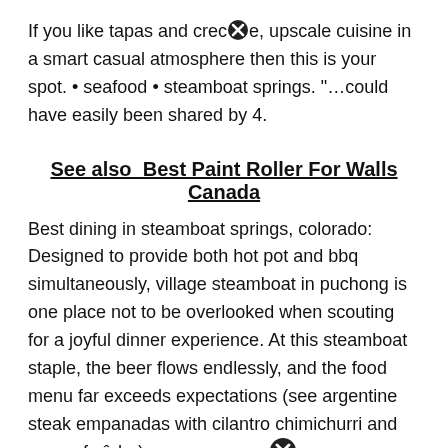If you like tapas and crecⓧe, upscale cuisine in a smart casual atmosphere then this is your spot. • seafood • steamboat springs. “…could have easily been shared by 4.
See also  Best Paint Roller For Walls Canada
Best dining in steamboat springs, colorado: Designed to provide both hot pot and bbq simultaneously, village steamboat in puchong is one place not to be overlooked when scouting for a joyful dinner experience. At this steamboat staple, the beer flows endlessly, and the food menu far exceeds expectations (see argentine steak empanadas with cilantro chimichurri and creme fraîche).